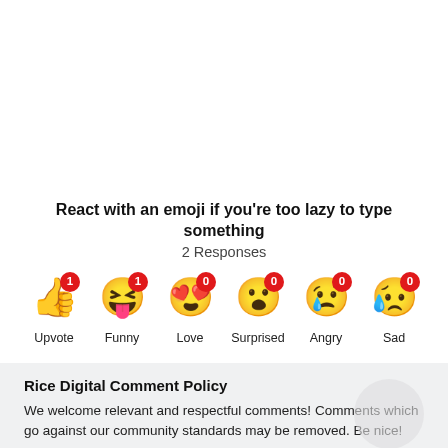React with an emoji if you're too lazy to type something
2 Responses
[Figure (infographic): Six emoji reaction buttons with counts: Upvote (thumbs up, 1), Funny (laughing face, 1), Love (heart eyes, 0), Surprised (surprised face, 0), Angry (crying face, 0), Sad (sad crying face, 0)]
Rice Digital Comment Policy
We welcome relevant and respectful comments! Comments which go against our community standards may be removed. Be nice!